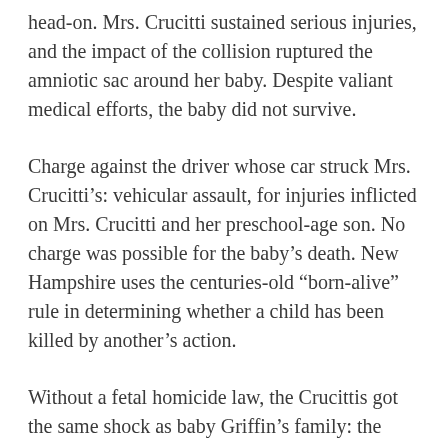head-on. Mrs. Crucitti sustained serious injuries, and the impact of the collision ruptured the amniotic sac around her baby. Despite valiant medical efforts, the baby did not survive.
Charge against the driver whose car struck Mrs. Crucitti's: vehicular assault, for injuries inflicted on Mrs. Crucitti and her preschool-age son. No charge was possible for the baby's death. New Hampshire uses the centuries-old “born-alive” rule in determining whether a child has been killed by another’s action.
Without a fetal homicide law, the Crucittis got the same shock as baby Griffin’s family: the child simply never existed, under state law.